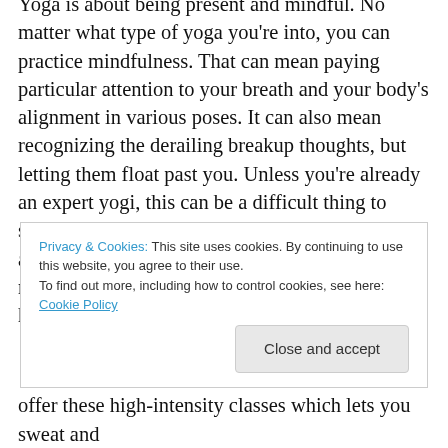Yoga. Yoga is about being present and mindful. No matter what type of yoga you're into, you can practice mindfulness. That can mean paying particular attention to your breath and your body's alignment in various poses. It can also mean recognizing the derailing breakup thoughts, but letting them float past you. Unless you're already an expert yogi, this can be a difficult thing to start. However, if you stick with it, you may find a peace and center that you were otherwise missing in this tumultuous time. This article can help you get started.
Privacy & Cookies: This site uses cookies. By continuing to use this website, you agree to their use. To find out more, including how to control cookies, see here: Cookie Policy
offer these high-intensity classes which lets you sweat and